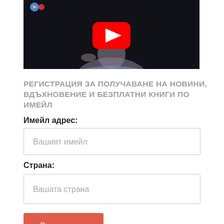[Figure (screenshot): YouTube video thumbnail showing a person in a light blue shirt against a dark background, with a YouTube play button overlay and what appears to be a logo in the top left corner]
РЕГИСТРАЦИЯ ЗА ПОЛУЧАВАНЕ НА НОВИНИ, ВДЪХНОВЕНИЕ И БЕЗПЛАТНИ КНИГИ ПО ИМЕЙЛ
Имейл адрес:
Вашият имейл
Страна:
Вашата страна
Регистрация